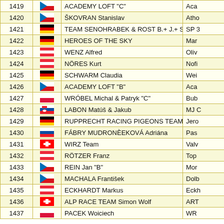| # | Flag | Name | Club |
| --- | --- | --- | --- |
| 1419 | CZ | ACADEMY LOFT "C" | Aca |
| 1420 | CZ | ŠKOVRAN Stanislav | Atho |
| 1421 | DE | TEAM SENOHRABEK & ROST B.+ J.+ S. "A" | SP 3 |
| 1422 | DE | HEROES OF THE SKY | Mar |
| 1423 | AT | WENZ Alfred | Oliv |
| 1424 | AT | NÖRES Kurt | Nofi |
| 1425 | DE | SCHWARM Claudia | Wei |
| 1426 | CZ | ACADEMY LOFT "B" | Aca |
| 1427 | PL | WRÓBEL Michal & Patryk "C" | Bub |
| 1428 | SK | LABON Matúš & Jakub | MJ C |
| 1429 | DE | RUPPRECHT RACING PIGEONS TEAM "B" | Jero |
| 1430 | SK | FÁBRY MUDRONÈEKOVÁ Adriána | Pas |
| 1431 | CH | WIRZ Team | Valv |
| 1432 | AT | RÖTZER Franz | Top |
| 1433 | CZ | REIN Jan "B" | Mor |
| 1434 | CZ | MACHALA František | Dolb |
| 1435 | AT | ECKHARDT Markus | Eckh |
| 1436 | CH | ALP RACE TEAM Simon Wolf | ART |
| 1437 | PL | PACEK Woiciech | WR |